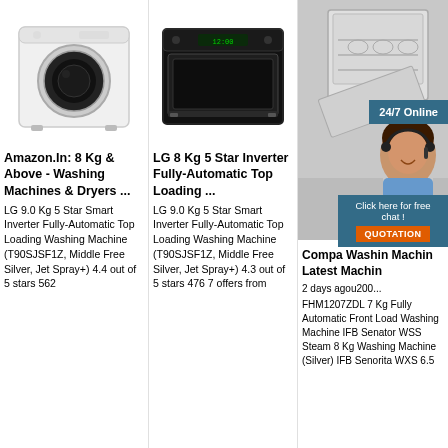[Figure (photo): White front-load washing machine product photo]
Amazon.In: 8 Kg & Above - Washing Machines & Dryers ...
LG 9.0 Kg 5 Star Smart Inverter Fully-Automatic Top Loading Washing Machine (T90SJSF1Z, Middle Free Silver, Jet Spray+) 4.4 out of 5 stars 562
[Figure (photo): Black built-in oven / dishwasher appliance product photo]
LG 8 Kg 5 Star Inverter Fully-Automatic Top Loading ...
LG 9.0 Kg 5 Star Smart Inverter Fully-Automatic Top Loading Washing Machine (T90SJSF1Z, Middle Free Silver, Jet Spray+) 4.3 out of 5 stars 476 7 offers from
[Figure (photo): Open dishwasher with dishes and woman with headset overlay; 24/7 Online badge; click here for free chat popup]
Compare Washing Machines: Latest Washing Machines
2 days agou200... FHM1207ZDL 7 Kg Fully Automatic Front Load Washing Machine IFB Senator WSS Steam 8 Kg Washing Machine (Silver) IFB Senorita WXS 6.5